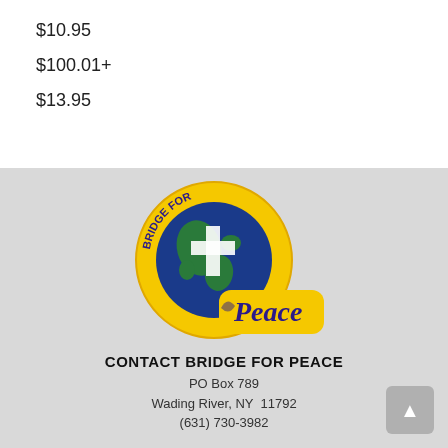$10.95
$100.01+
$13.95
[Figure (logo): Bridge for Peace logo: circular yellow badge with 'BRIDGE FOR' text around top arc, globe with cross in center, and yellow rectangular extension with italic script 'Peace' text in purple/blue.]
CONTACT BRIDGE FOR PEACE
PO Box 789
Wading River, NY  11792
(631) 730-3982